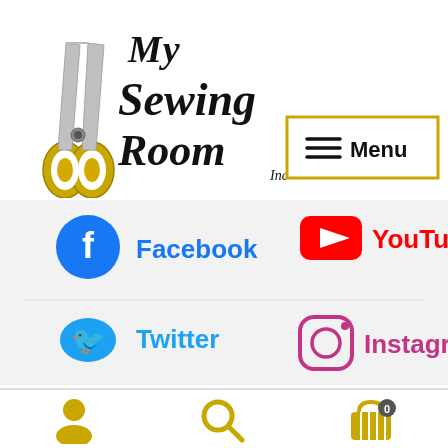[Figure (logo): My Sewing Room Inc logo with decorative scissors and stylized text]
[Figure (other): Menu button with hamburger icon and gold border]
[Figure (other): Social media links: Facebook, YouTube, Twitter, Instagram icons with labels]
Home > Trims & Findings > Buttons > Button – 0003 – 11
[Figure (other): Bottom navigation bar with account, search, and cart (0) icons]